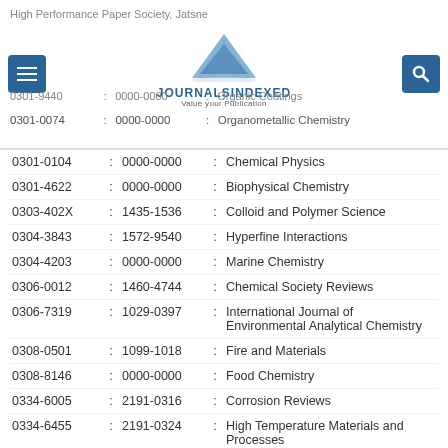High Performance Paper Society, Jatsne — JOURNALSINDEXED Value your Publication
| Print ISSN | : | E-ISSN | : | Journal Title |
| --- | --- | --- | --- | --- |
| 0301-9440 | : | 0000-0000 | : | Organic Coatings |
| 0301-0074 | : | 0000-0000 | : | Organometallic Chemistry |
| 0301-0104 | : | 0000-0000 | : | Chemical Physics |
| 0301-4622 | : | 0000-0000 | : | Biophysical Chemistry |
| 0303-402X | : | 1435-1536 | : | Colloid and Polymer Science |
| 0304-3843 | : | 1572-9540 | : | Hyperfine Interactions |
| 0304-4203 | : | 0000-0000 | : | Marine Chemistry |
| 0306-0012 | : | 1460-4744 | : | Chemical Society Reviews |
| 0306-7319 | : | 1029-0397 | : | International Journal of Environmental Analytical Chemistry |
| 0308-0501 | : | 1099-1018 | : | Fire and Materials |
| 0308-8146 | : | 0000-0000 | : | Food Chemistry |
| 0334-6005 | : | 2191-0316 | : | Corrosion Reviews |
| 0334-6455 | : | 2191-0324 | : | High Temperature Materials and Processes |
| 0340-0204 | : | 1437-4358 | : | Journal of Non-Equilibrium Thermodynamics |
| 0340-4285 | : | 1572-901X | : | Transition Metal Chemistry |